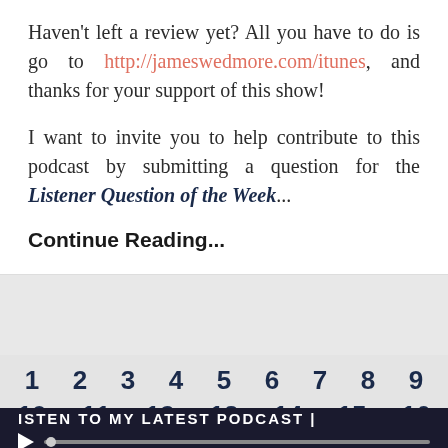Haven't left a review yet? All you have to do is go to http://jameswedmore.com/itunes, and thanks for your support of this show!
I want to invite you to help contribute to this podcast by submitting a question for the Listener Question of the Week...
Continue Reading...
< 1 2 3 4 5 6 7 8 9 > 10 11 12 13 14 15 16
ISTEN TO MY LATEST PODCAST |